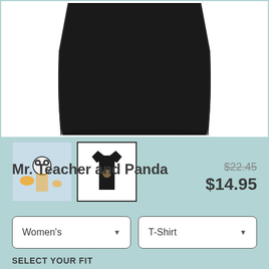[Figure (photo): Black t-shirt product photo shown against white background, bottom portion of shirt visible]
[Figure (photo): Two product thumbnails: first shows colorful graphic design on light blue background, second shows black t-shirt with graphic on white background with dark border]
Mr. Teacher and Panda
$22.45 (strikethrough original price) $14.95 (sale price)
Women's dropdown, T-Shirt dropdown
SELECT YOUR FIT